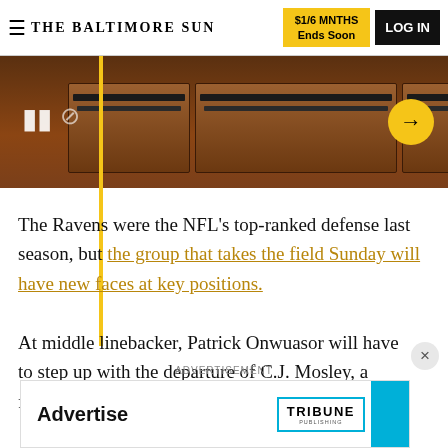THE BALTIMORE SUN | $1/6 MNTHS Ends Soon | LOG IN
[Figure (photo): Partial view of wooden lockers in a locker room with a yellow navigation arrow on the right side and play/pause icons on the left.]
The Ravens were the NFL’s top-ranked defense last season, but the group that takes the field Sunday will have new faces at key positions.
At middle linebacker, Patrick Onwuasor will have to step up with the departure of C.J. Mosley, a four-time
ADVERTISEMENT
[Figure (other): Advertisement banner with 'Advertise' text on the left and Tribune Publishing logo on the right with a teal/blue right-side stripe.]